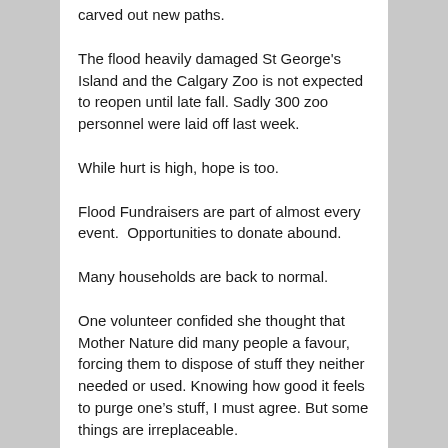carved out new paths.
The flood heavily damaged St George's Island and the Calgary Zoo is not expected to reopen until late fall. Sadly 300 zoo personnel were laid off last week.
While hurt is high, hope is too.
Flood Fundraisers are part of almost every event.  Opportunities to donate abound.
Many households are back to normal.
One volunteer confided she thought that Mother Nature did many people a favour, forcing them to dispose of stuff they neither needed or used. Knowing how good it feels to purge one’s stuff, I must agree. But some things are irreplaceable.
(That reminds me it’s time I get my “important stuff” together and in a safer place. I have some photos in